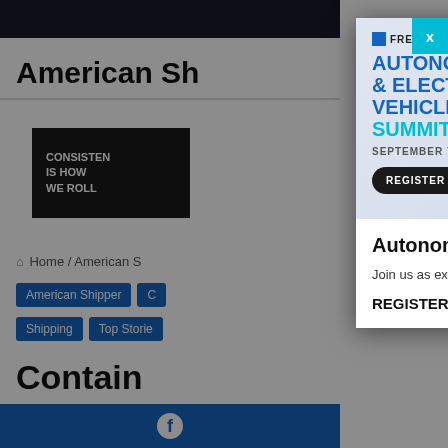American Sh[ipper]
[Figure (illustration): Ad banner: black background with white text 'CONSISTEN IS HOW WE ROLL']
Home / American S[hipper]
American Shipper | C[argo] | Shipping | Top Storie[s]
Contain[er] greatest [challenge] with mo[re]
Massive Q4 [analysis...]
[Figure (illustration): FreightWaves Autonomous & Electric Vehicles Summit banner ad with electric truck illustration, September 7, 2022, Register Now button]
Autonomous & Electric Vehicles Summit | Sept. 7, 2022
Join us as experts discuss innovations in electrification and autonomous trucking
REGISTER NOW!